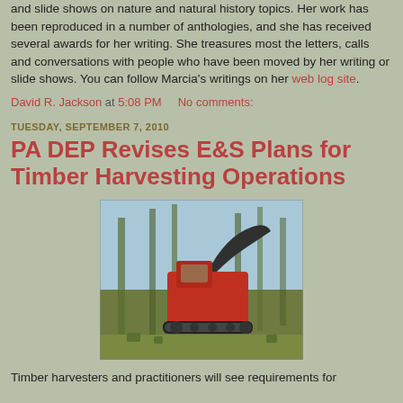and slide shows on nature and natural history topics. Her work has been reproduced in a number of anthologies, and she has received several awards for her writing. She treasures most the letters, calls and conversations with people who have been moved by her writing or slide shows. You can follow Marcia's writings on her web log site.
David R. Jackson at 5:08 PM    No comments:
TUESDAY, SEPTEMBER 7, 2010
PA DEP Revises E&S Plans for Timber Harvesting Operations
[Figure (photo): A large red timber harvesting machine in a forest clearing with trees and sky visible]
Timber harvesters and practitioners will see requirements for